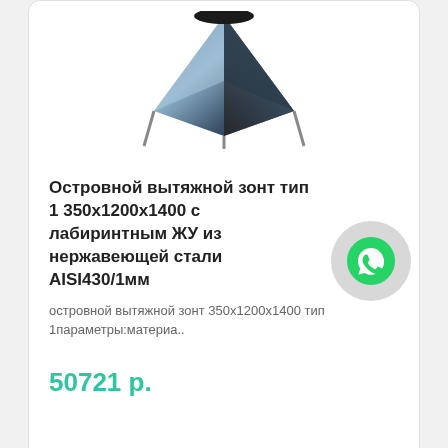[Figure (photo): Product photo of an island exhaust hood viewed from below, diamond/triangular shape with dark metallic color and blue-grey reflections, shown at top of first product card]
Островной вытяжной зонт тип 1 350х1200х1400 с лабиринтным ЖУ из нержавеющей стали AISI430/1мм
островной вытяжной зонт 350х1200х1400 тип 1параметры:материа..
50721 р.
[Figure (photo): Partial view of a second product card showing a similar exhaust hood product from below, just the top portion visible at bottom of page]
[Figure (other): WhatsApp messenger icon circle overlay]
[Figure (other): Viber messenger icon circle overlay]
Купить